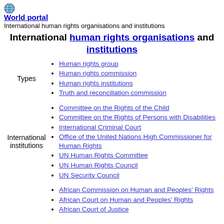[Figure (illustration): Globe icon representing World portal]
World portal
International human rights organisations and institutions
International human rights organisations and institutions
Human rights group
Human rights commission
Human rights institutions
Truth and reconciliation commission
Committee on the Rights of the Child
Committee on the Rights of Persons with Disabilities
International Criminal Court
Office of the United Nations High Commissioner for Human Rights
UN Human Rights Committee
UN Human Rights Council
UN Security Council
African Commission on Human and Peoples' Rights
African Court on Human and Peoples' Rights
African Court of Justice